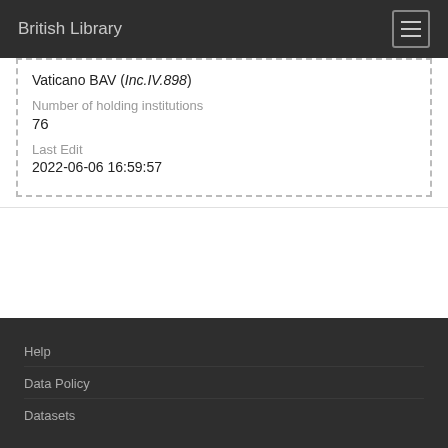British Library
Vaticano BAV (Inc.IV.898)
Number of holding institutions
76
Last Edit
2022-06-06 16:59:57
Help
Data Policy
Datasets